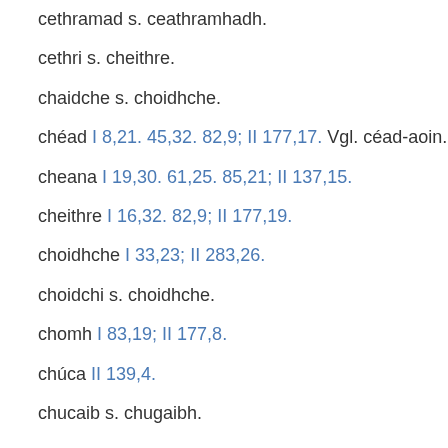cethramad s. ceathramhadh.
cethri s. cheithre.
chaidche s. choidhche.
chéad I 8,21. 45,32. 82,9; II 177,17. Vgl. céad-aoin.
cheana I 19,30. 61,25. 85,21; II 137,15.
cheithre I 16,32. 82,9; II 177,19.
choidhche I 33,23; II 283,26.
choidchi s. choidhche.
chomh I 83,19; II 177,8.
chúca II 139,4.
chucaib s. chugaibh.